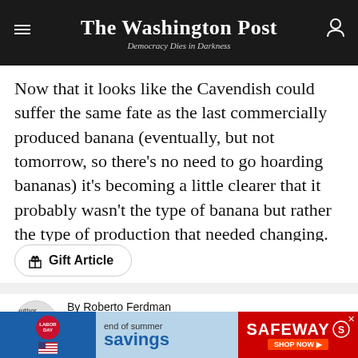The Washington Post — Democracy Dies in Darkness
Now that it looks like the Cavendish could suffer the same fate as the last commercially produced banana (eventually, but not tomorrow, so there's no need to go hoarding bananas) it's becoming a little clearer that it probably wasn't the type of banana but rather the type of production that needed changing.
Gift Article
By Roberto Ferdman
Roberto A. Ferdman was a reporter for Wonkblog covering food, economics, and other things. He left The
[Figure (other): Safeway Labor Day end of summer savings advertisement banner]